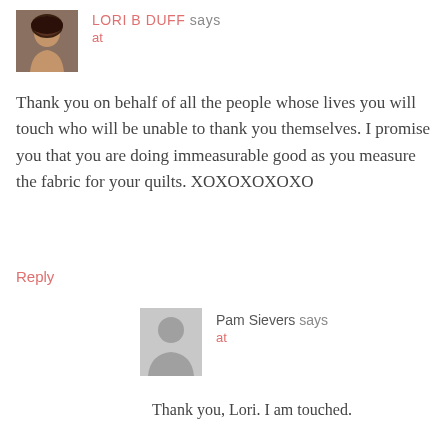[Figure (photo): Profile photo of Lori B Duff, a woman with dark shoulder-length hair]
LORI B DUFF says
at
Thank you on behalf of all the people whose lives you will touch who will be unable to thank you themselves. I promise you that you are doing immeasurable good as you measure the fabric for your quilts. XOXOXOXOXO
Reply
[Figure (illustration): Generic user avatar placeholder (gray silhouette of a person)]
Pam Sievers says
at
Thank you, Lori. I am touched.